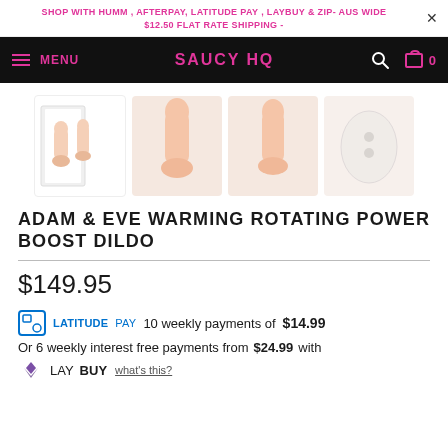SHOP WITH HUMM , AFTERPAY, LATITUDE PAY , LAYBUY & ZIP- AUS WIDE $12.50 FLAT RATE SHIPPING -
MENU  SAUCY HQ  [search icon] [cart] 0
[Figure (photo): Four product images: box with two dildos, pink dildo front view, pink dildo side view, white oval remote control]
ADAM & EVE WARMING ROTATING POWER BOOST DILDO
$149.95
LATITUDE PAY 10 weekly payments of $14.99
Or 6 weekly interest free payments from $24.99 with LAYBUY what's this?